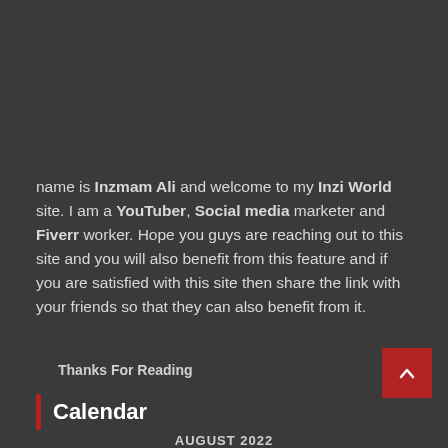name is Inzmam Ali and welcome to my Inzi World site. I am a YouTuber, Social media marketer and Fiverr worker. Hope you guys are reaching out to this site and you will also benefit from this feature and if you are satisfied with this site then share the link with your friends so that they can also benefit from it.
Thanks For Reading
Calendar
AUGUST 2022